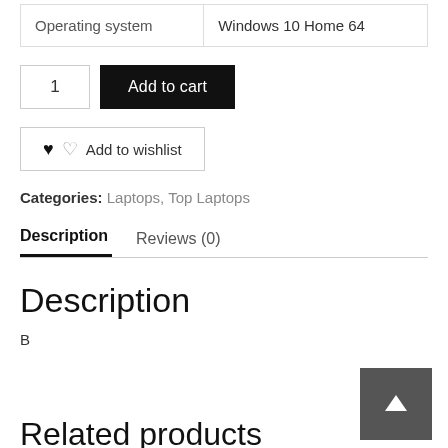| Operating system | Windows 10 Home 64 |
1  Add to cart
♥♡  Add to wishlist
Categories: Laptops, Top Laptops
Description   Reviews (0)
Description
B
Related products